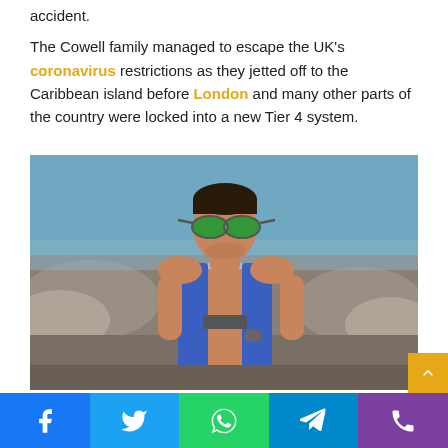accident.
The Cowell family managed to escape the UK's coronavirus restrictions as they jetted off to the Caribbean island before London and many other parts of the country were locked into a new Tier 4 system.
[Figure (photo): A man wearing green mirrored aviator sunglasses and an open blue life vest/jacket, standing near rocky seaside area with blue water in the background. He appears to be Simon Cowell on a beach holiday.]
Social sharing bar with Facebook, Twitter, WhatsApp, Telegram, Phone icons